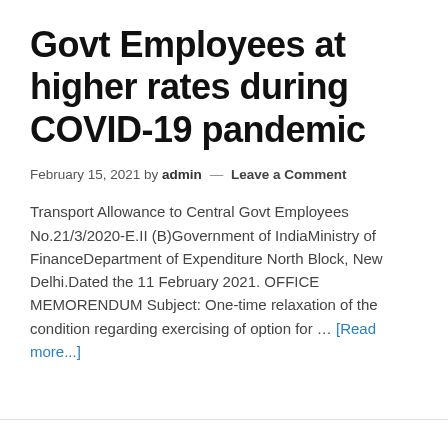Govt Employees at higher rates during COVID-19 pandemic
February 15, 2021 by admin — Leave a Comment
Transport Allowance to Central Govt Employees No.21/3/2020-E.II (B)Government of IndiaMinistry of FinanceDepartment of Expenditure North Block, New Delhi.Dated the 11 February 2021. OFFICE MEMORENDUM Subject: One-time relaxation of the condition regarding exercising of option for … [Read more...]